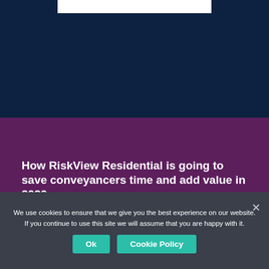[Figure (screenshot): Dark navy blue background with a white horizontal bar near the top center, representing a website header screenshot]
How RiskView Residential is going to save conveyancers time and add value in 2020
We use cookies to ensure that we give you the best experience on our website. If you continue to use this site we will assume that you are happy with it.
Ok   Cookie Policy